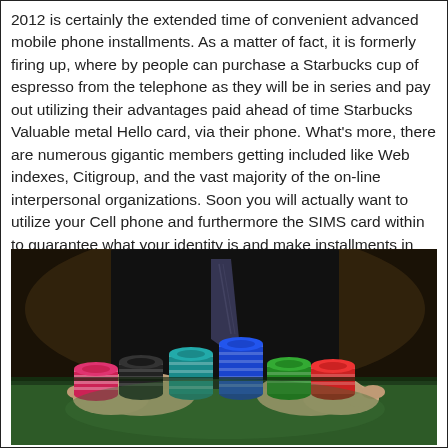2012 is certainly the extended time of convenient advanced mobile phone installments. As a matter of fact, it is formerly firing up, where by people can purchase a Starbucks cup of espresso from the telephone as they will be in series and pay out utilizing their advantages paid ahead of time Starbucks Valuable metal Hello card, via their phone. What's more, there are numerous gigantic members getting included like Web indexes, Citigroup, and the vast majority of the on-line interpersonal organizations. Soon you will actually want to utilize your Cell phone and furthermore the SIMS card within to guarantee what your identity is and make installments in the pay registers by basically waving your phone across a filtering gadget.
[Figure (photo): A person in a dark suit with a striped tie reaching over stacks of colorful casino poker chips (pink, black, teal, blue, green, red) arranged on a green felt table surface.]